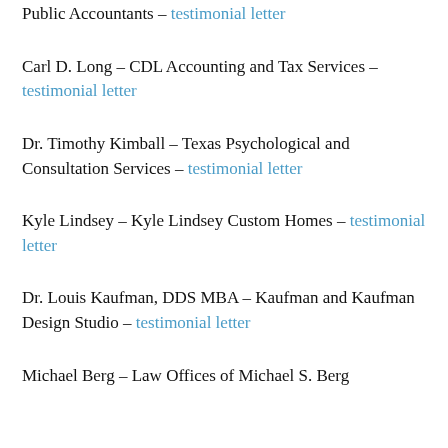Public Accountants – testimonial letter
Carl D. Long – CDL Accounting and Tax Services – testimonial letter
Dr. Timothy Kimball – Texas Psychological and Consultation Services – testimonial letter
Kyle Lindsey – Kyle Lindsey Custom Homes – testimonial letter
Dr. Louis Kaufman, DDS MBA – Kaufman and Kaufman Design Studio – testimonial letter
Michael Berg – Law Offices of Michael S. Berg